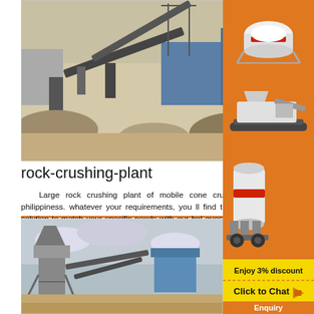[Figure (photo): Industrial rock crushing plant with conveyor belts, heavy machinery and piles of crushed aggregate material, industrial buildings in background]
rock-crushing-plant
Large rock crushing plant of mobile cone crusher philippiness. whatever your requirements, you ll find the p solution to match your specific needs with our hel questions anytime 247, welcome your consultati second hand tph rock crushing plant sale . Puz sale in india. whats the 2050 tph stone
[Figure (photo): Rock crushing plant facility with tall silo/hopper structure and conveyor belts against an overcast sky, dry dusty terrain in foreground]
[Figure (infographic): Orange advertisement panel showing industrial crusher machinery images, 'Enjoy 3% discount', 'Click to Chat' button with arrow icon, and 'Enquiry' button]